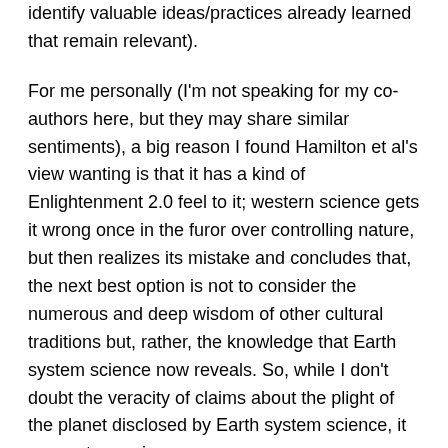identify valuable ideas/practices already learned that remain relevant).
For me personally (I'm not speaking for my co-authors here, but they may share similar sentiments), a big reason I found Hamilton et al's view wanting is that it has a kind of Enlightenment 2.0 feel to it; western science gets it wrong once in the furor over controlling nature, but then realizes its mistake and concludes that, the next best option is not to consider the numerous and deep wisdom of other cultural traditions but, rather, the knowledge that Earth system science now reveals. So, while I don't doubt the veracity of claims about the plight of the planet disclosed by Earth system science, it seems to require